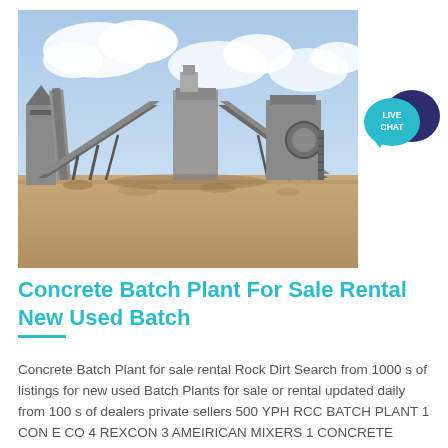[Figure (photo): Outdoor industrial concrete batch plant facility with conveyor belts, silos, and steel framework structures on a dirt construction site under a partly cloudy sky.]
[Figure (infographic): Live Chat button - teal speech bubble with white text 'LIVE CHAT' overlaid on a dark navy/purple chat bubble icon.]
Concrete Batch Plant For Sale Rental New Used Batch
Concrete Batch Plant for sale rental Rock Dirt Search from 1000 s of listings for new used Batch Plants for sale or rental updated daily from 100 s of dealers private sellers 500 YPH RCC BATCH PLANT 1 CON E CO 4 REXCON 3 AMEIRICAN MIXERS 1 CONCRETE PLANT